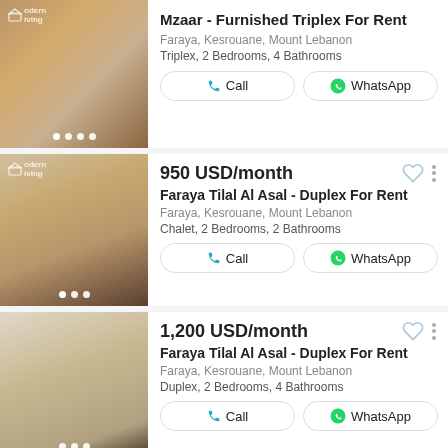[Figure (photo): Interior photo of furnished living room with sofa and wooden furniture]
Mzaar - Furnished Triplex For Rent
Faraya, Kesrouane, Mount Lebanon
Triplex, 2 Bedrooms, 4 Bathrooms
[Figure (photo): Interior photo of kitchen/dining area]
950 USD/month
Faraya Tilal Al Asal - Duplex For Rent
Faraya, Kesrouane, Mount Lebanon
Chalet, 2 Bedrooms, 2 Bathrooms
1,200 USD/month
Faraya Tilal Al Asal - Duplex For Rent
Faraya, Kesrouane, Mount Lebanon
Duplex, 2 Bedrooms, 4 Bathrooms
[Figure (photo): Partial interior photo at bottom of page]